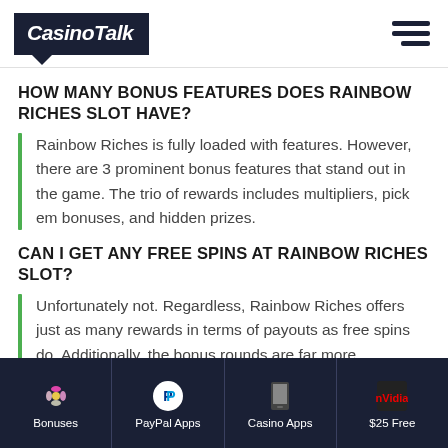CasinoTalk
HOW MANY BONUS FEATURES DOES RAINBOW RICHES SLOT HAVE?
Rainbow Riches is fully loaded with features. However, there are 3 prominent bonus features that stand out in the game. The trio of rewards includes multipliers, pick em bonuses, and hidden prizes.
CAN I GET ANY FREE SPINS AT RAINBOW RICHES SLOT?
Unfortunately not. Regardless, Rainbow Riches offers just as many rewards in terms of payouts as free spins do. Additionally, the bonus rounds are far more interactive, making
Bonuses | PayPal Apps | Casino Apps | $25 Free